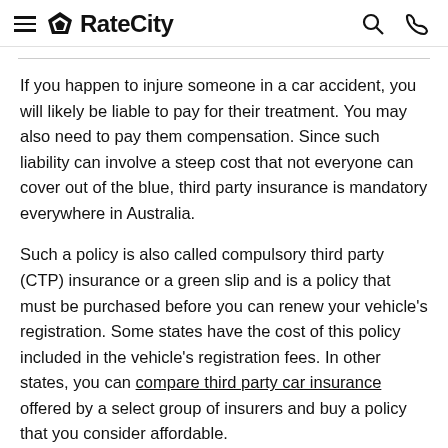RateCity
If you happen to injure someone in a car accident, you will likely be liable to pay for their treatment. You may also need to pay them compensation. Since such liability can involve a steep cost that not everyone can cover out of the blue, third party insurance is mandatory everywhere in Australia.
Such a policy is also called compulsory third party (CTP) insurance or a green slip and is a policy that must be purchased before you can renew your vehicle's registration. Some states have the cost of this policy included in the vehicle's registration fees. In other states, you can compare third party car insurance offered by a select group of insurers and buy a policy that you consider affordable.